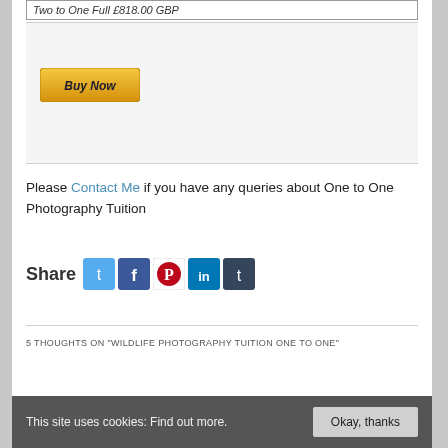Two to One Full £818.00 GBP
[Figure (screenshot): PayPal Buy Now button with golden/yellow gradient styling and italic bold text]
Please Contact Me if you have any queries about One to One Photography Tuition
[Figure (infographic): Share buttons row: Twitter (blue bird), Facebook (blue f), Pinterest (red/white P), LinkedIn (blue in), Tumblr (dark blue t)]
5 THOUGHTS ON "WILDLIFE PHOTOGRAPHY TUITION ONE TO ONE"
This site uses cookies: Find out more. Okay, thanks